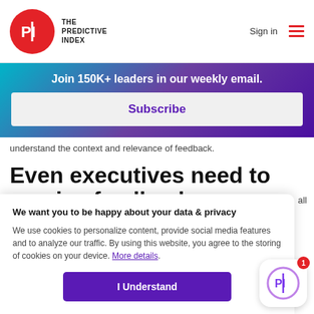THE PREDICTIVE INDEX | Sign in
Join 150K+ leaders in our weekly email.
Subscribe
understand the context and relevance of feedback.
Even executives need to receive feedback
We want you to be happy about your data & privacy
We use cookies to personalize content, provide social media features and to analyze our traffic. By using this website, you agree to the storing of cookies on your device. More details.
I Understand